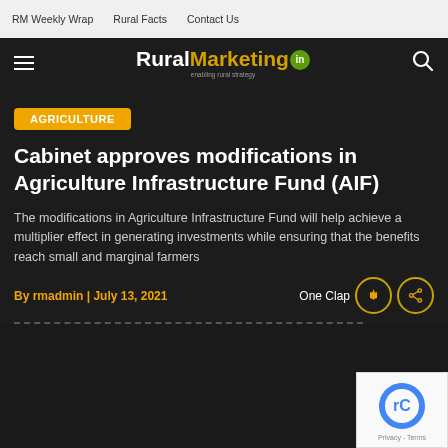RM Weekly Wrap  |  Rural Facts  |  Contact Us
[Figure (logo): RuralMarketing.in website logo with hamburger menu icon on left and search icon on right on dark background]
AGRICULTURE
Cabinet approves modifications in Agriculture Infrastructure Fund (AIF)
The modifications in Agriculture Infrastructure Fund will help achieve a multiplier effect in generating investments while ensuring that the benefits reach small and marginal farmers
By rmadmin | July 13, 2021  One Clap
[Figure (other): reCAPTCHA Privacy - Terms overlay in bottom right corner]